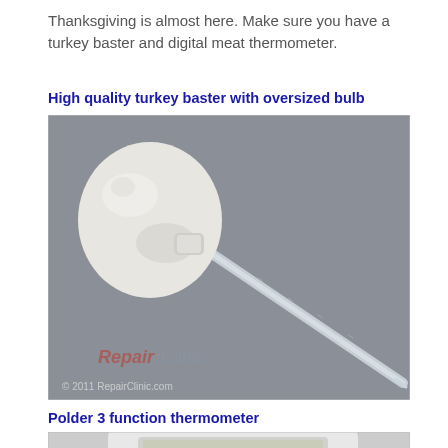Thanksgiving is almost here. Make sure you have a turkey baster and digital meat thermometer.
High quality turkey baster with oversized bulb
[Figure (photo): A turkey baster with a large white oversized bulb and a long clear transparent tube, photographed on a gray background. Watermark reads 'RepairClinic' and copyright '© 2011 RepairClinic.com' at bottom left.]
Polder 3 function thermometer
[Figure (photo): Partial view of a white digital thermometer device with a display showing numbers, partially visible at the bottom of the page.]